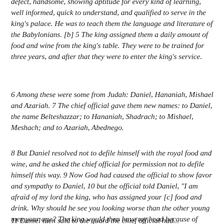defect, handsome, showing aptitude for every kind of learning, well informed, quick to understand, and qualified to serve in the king's palace. He was to teach them the language and literature of the Babylonians. [b] 5 The king assigned them a daily amount of food and wine from the king's table. They were to be trained for three years, and after that they were to enter the king's service.
6 Among these were some from Judah: Daniel, Hananiah, Mishael and Azariah. 7 The chief official gave them new names: to Daniel, the name Belteshazzar; to Hananiah, Shadrach; to Mishael, Meshach; and to Azariah, Abednego.
8 But Daniel resolved not to defile himself with the royal food and wine, and he asked the chief official for permission not to defile himself this way. 9 Now God had caused the official to show favor and sympathy to Daniel, 10 but the official told Daniel, "I am afraid of my lord the king, who has assigned your [c] food and drink. Why should he see you looking worse than the other young men your age? The king would then have my head because of you."
11 Daniel then said to the guard the chief official had...